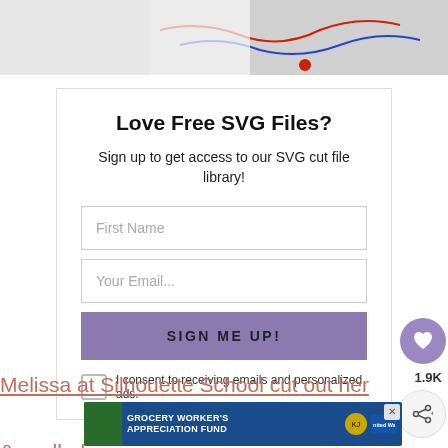[Figure (photo): Partial top image showing craft/sewing materials with a red dot indicator]
Love Free SVG Files?
Sign up to get access to our SVG cut file library!
First Name
Your Email...
SIGN ME UP!
I consent to receiving emails and personalized ads.
1.9K
Melissa at Silhouette School cut out her
[Figure (photo): Advertisement banner: Grocery Worker's Appreciation Fund with Kendall Jackson and United Way logos]